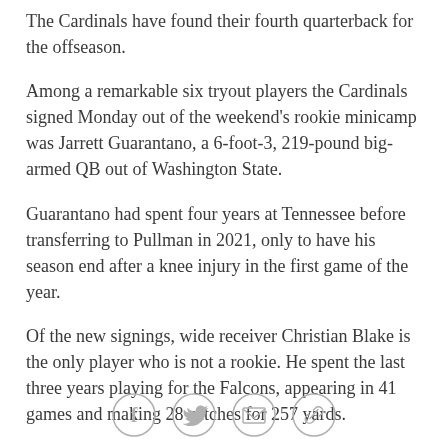The Cardinals have found their fourth quarterback for the offseason.
Among a remarkable six tryout players the Cardinals signed Monday out of the weekend's rookie minicamp was Jarrett Guarantano, a 6-foot-3, 219-pound big-armed QB out of Washington State.
Guarantano had spent four years at Tennessee before transferring to Pullman in 2021, only to have his season end after a knee injury in the first game of the year.
Of the new signings, wide receiver Christian Blake is the only player who is not a rookie. He spent the last three years playing for the Falcons, appearing in 41 games and making 28 catches for 257 yards.
The Cardinals still have a week left of Phase Two work
[Figure (other): Social sharing icons: Facebook, Twitter, Email, Link]